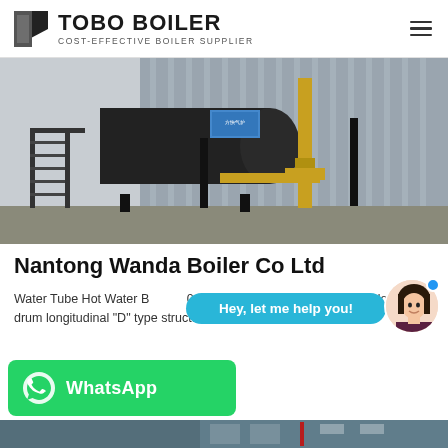TOBO BOILER — COST-EFFECTIVE BOILER SUPPLIER
[Figure (photo): Industrial water tube boiler installation inside a factory building. Large cylindrical black boiler drum with yellow gas piping visible, corrugated metal cladding in background, metal stairs on the left side.]
Nantong Wanda Boiler Co Ltd
Water Tube Hot Water Boiler: 10 Available fuel: natural g... boil... double-drum longitudinal "D" type structure. The water, or...
[Figure (screenshot): Chat assistant bubble saying 'Hey, let me help you!' in cyan/teal color with female avatar portrait to the right with a blue online indicator dot.]
[Figure (logo): WhatsApp button — green rounded rectangle with WhatsApp phone icon and 'WhatsApp' text in white bold lettering.]
[Figure (photo): Partial view of industrial boiler equipment, dark metal panels with reflective surfaces visible at bottom of page.]